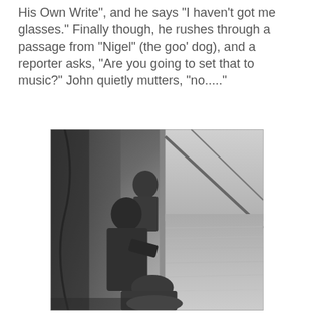His Own Write", and he says "I haven't got me glasses." Finally though, he rushes through a passage from "Nigel" (the goo' dog), and a reporter asks, "Are you going to set that to music?" John quietly mutters, "no....."
[Figure (photo): Black and white photograph of several people standing near a large window with a view of water/ocean outside. The figures appear to be looking out the window.]